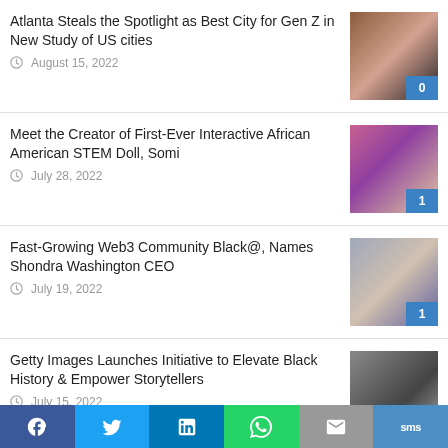Atlanta Steals the Spotlight as Best City for Gen Z in New Study of US cities — August 15, 2022 — comments: 0
Meet the Creator of First-Ever Interactive African American STEM Doll, Somi — July 28, 2022 — comments: 1
Fast-Growing Web3 Community Black@, Names Shondra Washington CEO — July 19, 2022 — comments: 1
Getty Images Launches Initiative to Elevate Black History & Empower Storytellers — July 15, 2022 — comments: 0
Serena Williams Announced as Keynote Speaker at Black Tech Week
Share bar: Facebook, Twitter, LinkedIn, WhatsApp, Email, SMS